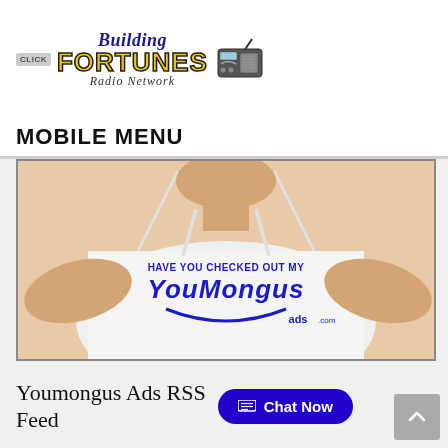[Figure (logo): Building Fortunes Radio Network logo with radio icon and 'CLICK' badge]
MOBILE MENU
[Figure (photo): Person wearing a white tank top with 'HAVE YOU CHECKED OUT MY YOUMONGUS ads.com' text in blue]
Youmongus Ads RSS Feed
Chat Now